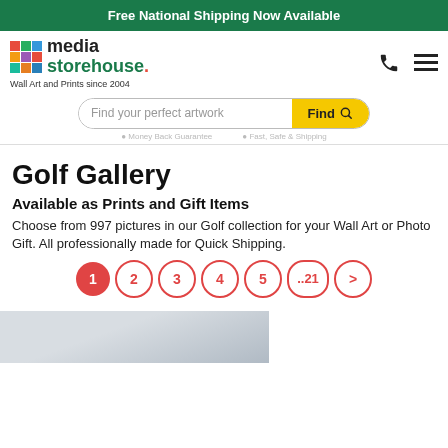Free National Shipping Now Available
[Figure (logo): Media Storehouse logo with colorful grid squares and text 'media storehouse.' with tagline 'Wall Art and Prints since 2004']
[Figure (screenshot): Search bar with placeholder 'Find your perfect artwork' and yellow 'Find' button with magnifying glass icon]
Money Back Guarantee   Fast, Safe & Shipping
Golf Gallery
Available as Prints and Gift Items
Choose from 997 pictures in our Golf collection for your Wall Art or Photo Gift. All professionally made for Quick Shipping.
[Figure (infographic): Pagination controls: 1 (active, red filled), 2, 3, 4, 5, ..21, > (all red circle outlines)]
[Figure (photo): Partial thumbnail of a golf-related photo showing sky with clouds]